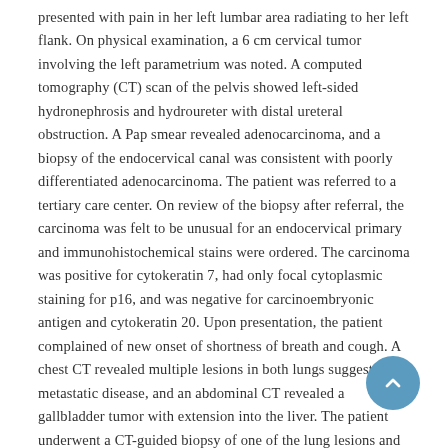presented with pain in her left lumbar area radiating to her left flank. On physical examination, a 6 cm cervical tumor involving the left parametrium was noted. A computed tomography (CT) scan of the pelvis showed left-sided hydronephrosis and hydroureter with distal ureteral obstruction. A Pap smear revealed adenocarcinoma, and a biopsy of the endocervical canal was consistent with poorly differentiated adenocarcinoma. The patient was referred to a tertiary care center. On review of the biopsy after referral, the carcinoma was felt to be unusual for an endocervical primary and immunohistochemical stains were ordered. The carcinoma was positive for cytokeratin 7, had only focal cytoplasmic staining for p16, and was negative for carcinoembryonic antigen and cytokeratin 20. Upon presentation, the patient complained of new onset of shortness of breath and cough. A chest CT revealed multiple lesions in both lungs suggestive of metastatic disease, and an abdominal CT revealed a gallbladder tumor with extension into the liver. The patient underwent a CT-guided biopsy of one of the lung lesions and the pathologic findings were consistent with metastatic adenocarcinoma. The patient was diagnosed with stage IVB primary gallbladder adenocarcinoma and was treated with capecitabine, but her condition deteriorated rapidly and she died